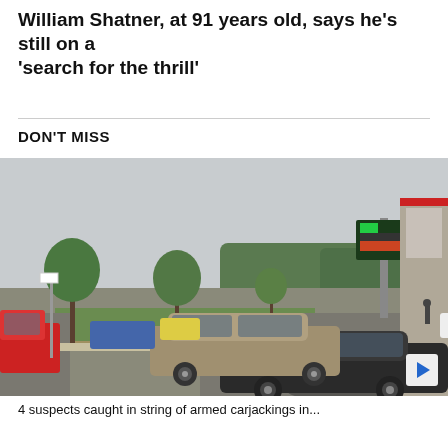William Shatner, at 91 years old, says he's still on a 'search for the thrill'
DON'T MISS
[Figure (photo): Street-level photo of a suburban commercial area showing a parking lot with several cars including a dark sedan and a tan/silver SUV in the foreground, trees lining the road median, a tall illuminated sign board in the background, overcast sky, and a building facade on the right edge.]
4 suspects caught in string of armed carjackings in...